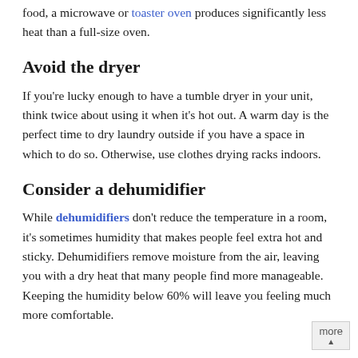food, a microwave or toaster oven produces significantly less heat than a full-size oven.
Avoid the dryer
If you're lucky enough to have a tumble dryer in your unit, think twice about using it when it's hot out. A warm day is the perfect time to dry laundry outside if you have a space in which to do so. Otherwise, use clothes drying racks indoors.
Consider a dehumidifier
While dehumidifiers don't reduce the temperature in a room, it's sometimes humidity that makes people feel extra hot and sticky. Dehumidifiers remove moisture from the air, leaving you with a dry heat that many people find more manageable. Keeping the humidity below 60% will leave you feeling much more comfortable.